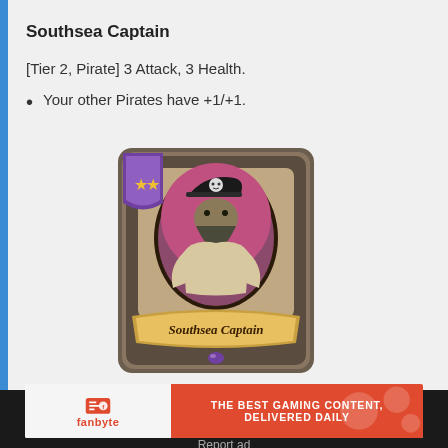Southsea Captain
[Tier 2, Pirate] 3 Attack, 3 Health.
Your other Pirates have +1/+1.
[Figure (illustration): Hearthstone card image for Southsea Captain showing a pirate character with the card name 'Southsea Captain' and two gold stars indicating tier 2]
[Figure (other): Fanbyte advertisement banner reading 'THE BEST GAMING CONTENT, DELIVERED DAILY']
Report ad